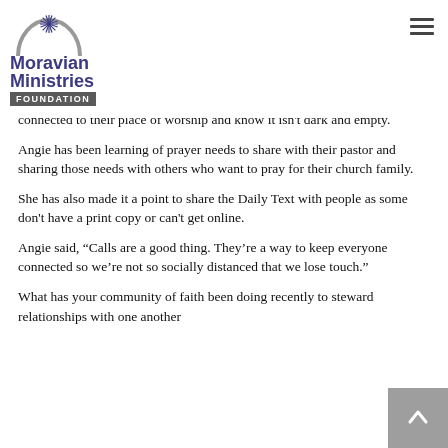[Figure (logo): Moravian Ministries Foundation logo with arch graphic and organization name]
...connected to their place of worship and know it isn't dark and empty.
Angie has been learning of prayer needs to share with their pastor and sharing those needs with others who want to pray for their church family.
She has also made it a point to share the Daily Text with people as some don't have a print copy or can't get online.
Angie said, “Calls are a good thing. They’re a way to keep everyone connected so we’re not so socially distanced that we lose touch.”
What has your community of faith been doing recently to steward relationships with one another and with those in your neighborhood and city and town?